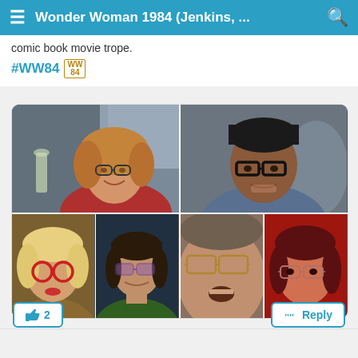≡ Wonder Woman 1984 (Jenkins, ... 🔍
comic book movie trope.
#WW84 [WW84 logo]
[Figure (photo): A 2x3 grid of movie stills from Wonder Woman 1984 featuring characters wearing glasses. Top row: a woman with curly hair and glasses smiling (left), a man with glasses looking intense (right). Bottom row: a blonde woman with round red glasses, a woman with purple-tinted glasses and green turtleneck, a close-up of a man with large glasses, and a woman with glasses in red lighting.]
👍 2
❝ Reply